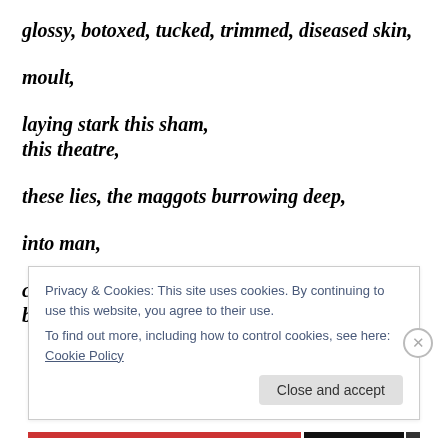glossy, botoxed, tucked, trimmed, diseased skin,
moult,
laying stark this sham,
this theatre,
these lies, the maggots burrowing deep,
into man,
chiselling, smashing,
beheading, hanging,
Privacy & Cookies: This site uses cookies. By continuing to use this website, you agree to their use.
To find out more, including how to control cookies, see here: Cookie Policy